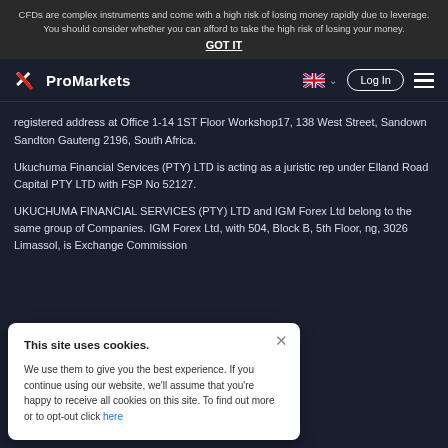CFDs are complex instruments and come with a high risk of losing money rapidly due to leverage. You should consider whether you can afford to take the high risk of losing your money.
GOT IT
[Figure (logo): XProMarkets logo with stylized X and text ProMarkets, navigation bar with UK flag, Log In button, and hamburger menu]
registered address at Office 1-14 1ST Floor Workshop17, 138 West Street, Sandown Sandton Gauteng 2196, South Africa.
Ukuchuma Financial Services (PTY) LTD is acting as a juristic rep under Elland Road Capital PTY LTD with FSP No 52127.
UKUCHUMA FINANCIAL SERVICES (PTY) LTD and IGM Forex Ltd belong to the same group of Companies. IGM Forex Ltd, with 504, Block B, 5th Floor, ng, 3026 Limassol, is Exchange Commission
This site uses cookies.

We use them to give you the best experience. If you continue using our website, we'll assume that you're happy to receive all cookies on this site. To find out more or to opt-out click here